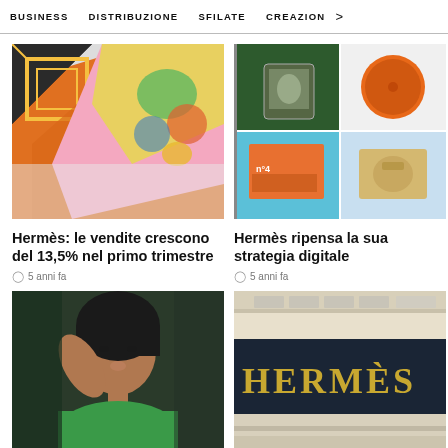BUSINESS   DISTRIBUZIONE   SFILATE   CREAZION  >
[Figure (photo): Colorful Hermès silk scarves with orange and multicolor prints displayed on a flat surface]
[Figure (photo): Grid of four Hermès product photos: green bag, orange round box, orange product box, and accessory on blue background]
Hermès: le vendite crescono del 13,5% nel primo trimestre
5 anni fa
Hermès ripensa la sua strategia digitale
5 anni fa
[Figure (photo): Close-up portrait of a young woman with dark hair wearing a green floral dress]
[Figure (photo): Hermès store exterior sign with gold letters on dark background reading HERMÈS]